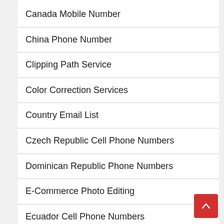Canada Mobile Number
China Phone Number
Clipping Path Service
Color Correction Services
Country Email List
Czech Republic Cell Phone Numbers
Dominican Republic Phone Numbers
E-Commerce Photo Editing
Ecuador Cell Phone Numbers